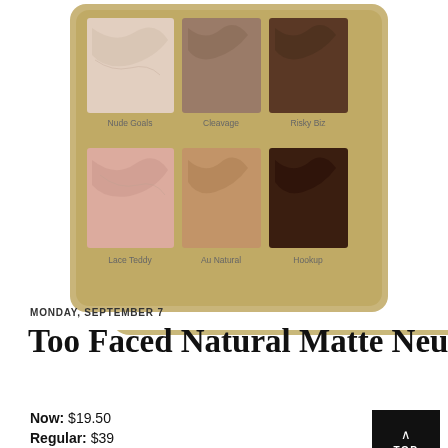[Figure (photo): Too Faced Natural Matte Neutral Eyeshadow Palette shown from above. Six eyeshadow pans in a gold compact: top row: Nude Goals (pale pink shimmer), Cleavage (medium brown), Risky Biz (dark brown). Bottom row: Lace Teddy (peach/pink), Au Natural (warm tan), Hookup (deep brown/black). Each pan is labeled with its shade name in small text.]
MONDAY, SEPTEMBER 7
Too Faced Natural Matte Neutral Eyeshadow Palette
Now: $19.50
Regular: $39
[Figure (screenshot): Black banner ad with text SHE CAN STEM in large bold white letters]
SH